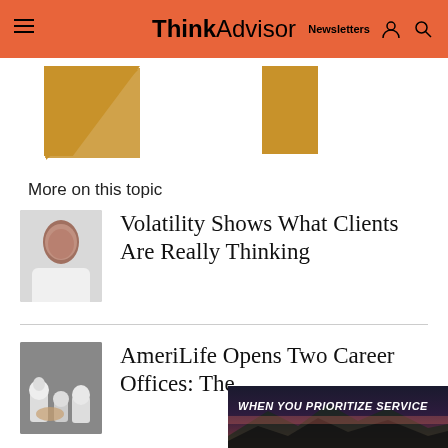ThinkAdvisor — Newsletters
[Figure (illustration): ThinkAdvisor website header with orange background, hamburger menu, logo, and geometric gold/orange triangles and rectangles]
More on this topic
[Figure (photo): Headshot of a woman with dark hair, smiling, wearing a white top]
Volatility Shows What Clients Are Really Thinking
[Figure (photo): Chess pieces on a board, hands moving a piece]
AmeriLife Opens Two Career Offices: The
[Figure (advertisement): Ad overlay with dark purple/maroon gradient background and text WHEN YOU PRIORITIZE SERVICE]